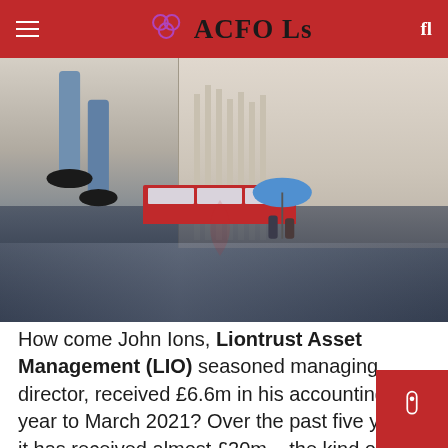ACFO Ls
[Figure (photo): Street-level photo of rainy day in London near Bank of England, showing pedestrians, a red double-decker bus, and reflections on wet pavement.]
How come John Ions, Liontrust Asset Management (LIO) seasoned managing director, received £6.6m in his accounting year to March 2021? Over the past five years it has received almost £20m – the kind of amount you normally only see at the biggest companies in the FTSE Liontrust, however, is hiding in the foothills of FTSE 250 index.